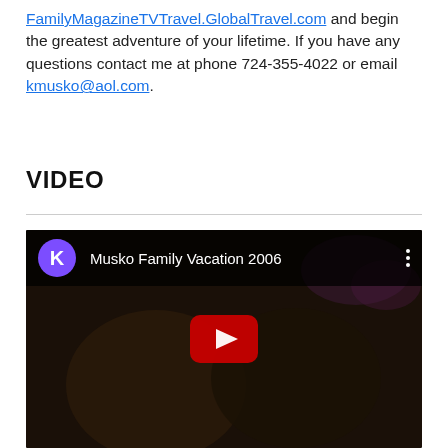FamilyMagazineTVTravel.GlobalTravel.com and begin the greatest adventure of your lifetime. If you have any questions contact me at phone 724-355-4022 or email kmusko@aol.com.
VIDEO
[Figure (screenshot): YouTube video thumbnail showing 'Musko Family Vacation 2006' with a purple K avatar icon, three-dot menu, and red YouTube play button overlay on a dark photo of two children.]